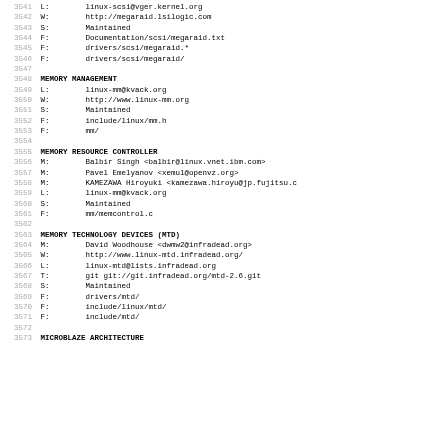3541 L:   linux-scsi@vger.kernel.org
3542 W:   http://megaraid.lsilogic.com
3543 S:   Maintained
3544 F:   Documentation/scsi/megaraid.txt
3545 F:   drivers/scsi/megaraid.*
3546 F:   drivers/scsi/megaraid/
3547
3548 MEMORY MANAGEMENT
3549 L:   linux-mm@kvack.org
3550 W:   http://www.linux-mm.org
3551 S:   Maintained
3552 F:   include/linux/mm.h
3553 F:   mm/
3554
3555 MEMORY RESOURCE CONTROLLER
3556 M:   Balbir Singh <balbir@linux.vnet.ibm.com>
3557 M:   Pavel Emelyanov <xemul@openvz.org>
3558 M:   KAMEZAWA Hiroyuki <kamezawa.hiroyu@jp.fujitsu.c
3559 L:   linux-mm@kvack.org
3560 S:   Maintained
3561 F:   mm/memcontrol.c
3562
3563 MEMORY TECHNOLOGY DEVICES (MTD)
3564 M:   David Woodhouse <dwmw2@infradead.org>
3565 W:   http://www.linux-mtd.infradead.org/
3566 L:   linux-mtd@lists.infradead.org
3567 T:   git git://git.infradead.org/mtd-2.6.git
3568 S:   Maintained
3569 F:   drivers/mtd/
3570 F:   include/linux/mtd/
3571 F:   include/mtd/
3572
3573 MICROBLAZE ARCHITECTURE